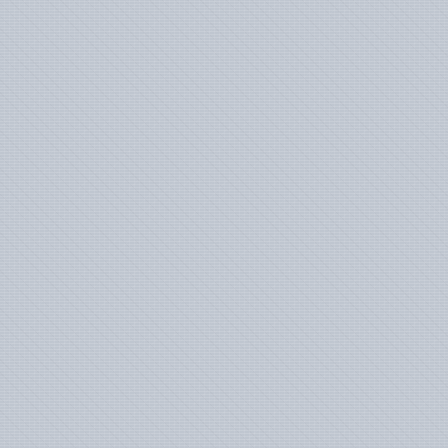[Figure (photo): Left panel with blue-gray linen texture background]
everyone's budget. Alternatively, you can self-host it on your own cloud servers. On Linux handbook, we already have guide on deploying Ghost with Docker in a reverse proxy setup. Instead of Ngnix reverse proxy, you can also use another software called Traefik with Docker. It is a popular open